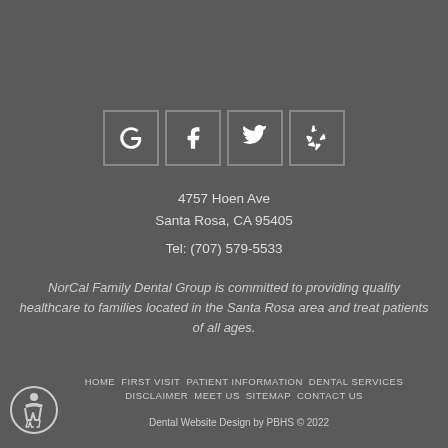[Figure (other): Social media icon buttons: Google, Facebook, Twitter, Yelp]
4757 Hoen Ave
Santa Rosa, CA 95405
Tel: (707) 579-5533
NorCal Family Dental Group is committed to providing quality healthcare to families located in the Santa Rosa area and treat patients of all ages.
HOME  FIRST VISIT  PATIENT INFORMATION  DENTAL SERVICES  DISCLAIMER  MEET US  SITEMAP  CONTACT US
Dental Website Design by PBHS © 2022